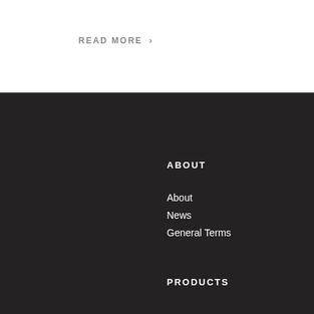READ MORE >
ABOUT
About
News
General Terms
PRODUCTS